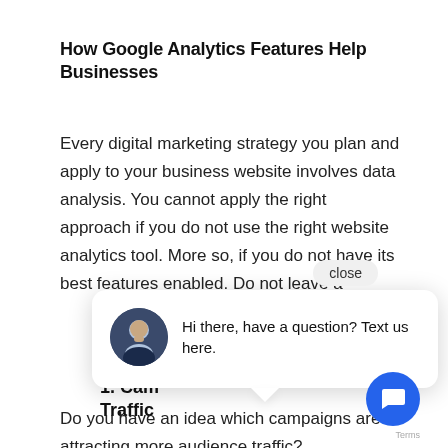How Google Analytics Features Help Businesses
Every digital marketing strategy you plan and apply to your business website involves data analysis. You cannot apply the right approach if you do not use the right website analytics tool. More so, if you do not have its best features enabled. Do not leave a...
1. Campaign Traffic
Do you have an idea which campaigns are attracting more audience traffic?